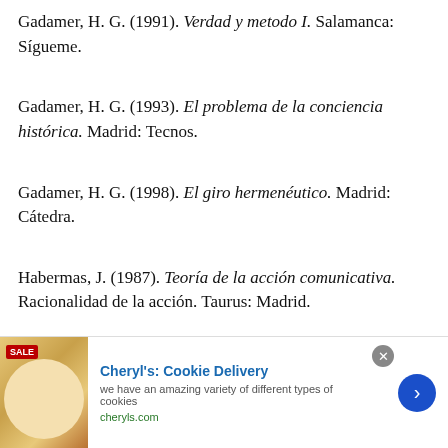Gadamer, H. G. (1991). Verdad y metodo I. Salamanca: Sígueme.
Gadamer, H. G. (1993). El problema de la conciencia histórica. Madrid: Tecnos.
Gadamer, H. G. (1998). El giro hermenéutico. Madrid: Cátedra.
Habermas, J. (1987). Teoría de la acción comunicativa. Racionalidad de la acción. Taurus: Madrid.
Husserl, E. (1970). The Crisis of European Sciences. Evanston: Northwestern University Press.